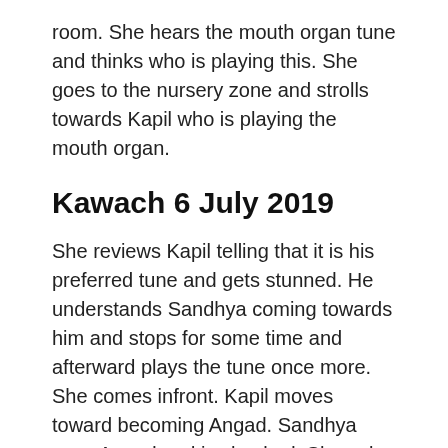room. She hears the mouth organ tune and thinks who is playing this. She goes to the nursery zone and strolls towards Kapil who is playing the mouth organ.
Kawach 6 July 2019
She reviews Kapil telling that it is his preferred tune and gets stunned. He understands Sandhya coming towards him and stops for some time and afterward plays the tune once more. She comes infront. Kapil moves toward becoming Angad. Sandhya sees Angad and is shocked. She asks how could you know this tune. Angad says it is from the film sholay. She asks when did you master playing mouth organ. He says it is